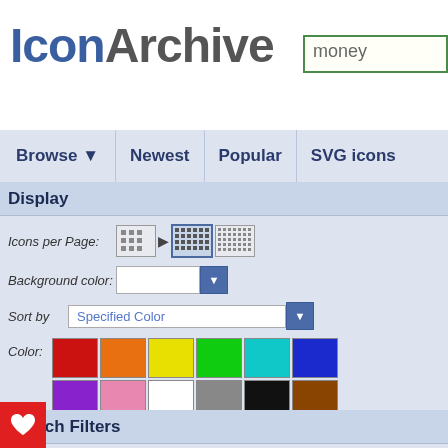IconArchive — search box with 'money'
Browse ▼   Newest   Popular   SVG icons
Display
Icons per Page:
Background color:
Sort by   Specified Color
Color:
Search Filters
Size: 24 x 24px
Category: Nature
e: Photorealistic
Results 1-0 of 0 for search term '
Your search for »money« did n
► If you agree to remove the fi
Results 1-0 of 0 for search term '